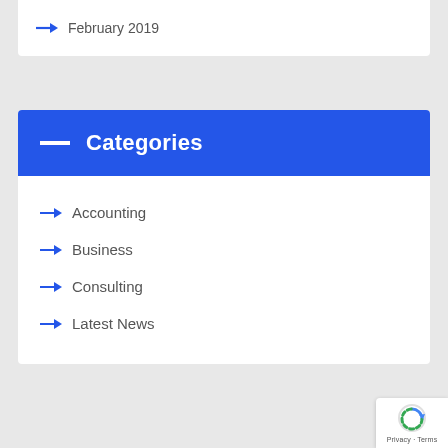→ February 2019
— Categories
→ Accounting
→ Business
→ Consulting
→ Latest News